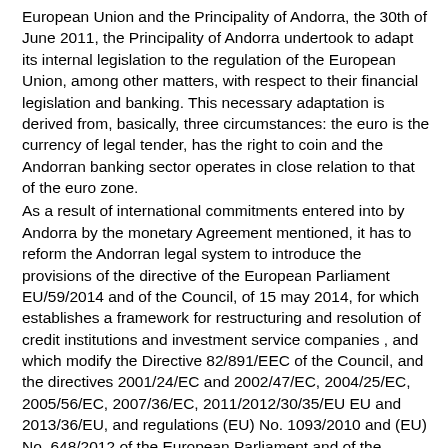European Union and the Principality of Andorra, the 30th of June 2011, the Principality of Andorra undertook to adapt its internal legislation to the regulation of the European Union, among other matters, with respect to their financial legislation and banking. This necessary adaptation is derived from, basically, three circumstances: the euro is the currency of legal tender, has the right to coin and the Andorran banking sector operates in close relation to that of the euro zone.
As a result of international commitments entered into by Andorra by the monetary Agreement mentioned, it has to reform the Andorran legal system to introduce the provisions of the directive of the European Parliament EU/59/2014 and of the Council, of 15 may 2014, for which establishes a framework for restructuring and resolution of credit institutions and investment service companies , and which modify the Directive 82/891/EEC of the Council, and the directives 2001/24/EC and 2002/47/EC, 2004/25/EC, 2005/56/EC, 2007/36/EC, 2011/2012/30/35/EU EU and 2013/36/EU, and regulations (EU) No. 1093/2010 and (EU) No. 648/2012 of the European Parliament and of the Council.
Even though the deadline to carry out this reform has not yet been exhausted, there are important reasons to advance the partial transposition. Have recently taken place serious events that could endanger the financial stability of the